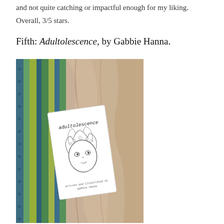and not quite catching or impactful enough for my liking.
Overall, 3/5 stars.
Fifth: Adultolescence, by Gabbie Hanna.
[Figure (photo): Photo of the book 'Adultolescence' by Gabbie Hanna resting on a colourful crocheted blanket and furry fabric. The book cover shows the title 'adultolescence' in handwritten font, an illustrated face of a woman with wild hair and a floral crown, and text reading 'written and illustrated by gabbie hanna'.]